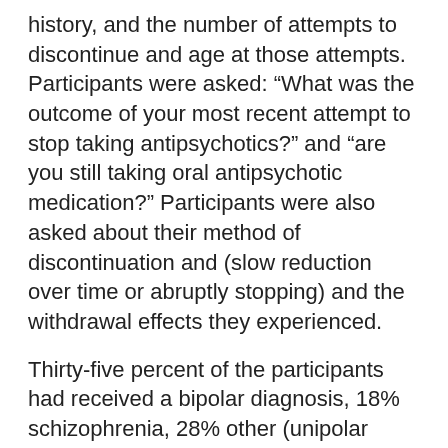history, and the number of attempts to discontinue and age at those attempts. Participants were asked: “What was the outcome of your most recent attempt to stop taking antipsychotics?” and “are you still taking oral antipsychotic medication?” Participants were also asked about their method of discontinuation and (slow reduction over time or abruptly stopping) and the withdrawal effects they experienced.
Thirty-five percent of the participants had received a bipolar diagnosis, 18% schizophrenia, 28% other (unipolar depression, anxiety, obsessive-compulsive disorder, post-traumatic stress disorder, personality disorder). Only 48% of participants reported speaking with a doctor about their most recent attempt to discontinue, 55% successfully stopped taking APs, and 50% reported no current use.